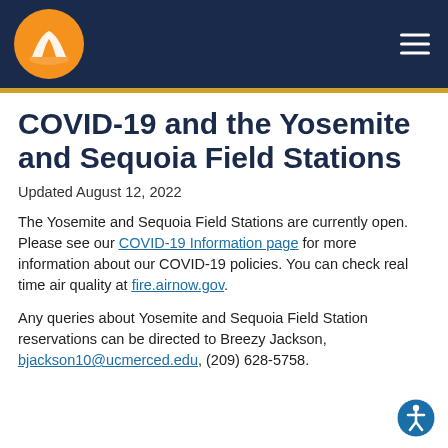UC Merced Yosemite and Sequoia Field Stations – site header with logo and navigation
COVID-19 and the Yosemite and Sequoia Field Stations
Updated August 12, 2022
The Yosemite and Sequoia Field Stations are currently open. Please see our COVID-19 Information page for more information about our COVID-19 policies. You can check real time air quality at fire.airnow.gov.
Any queries about Yosemite and Sequoia Field Station reservations can be directed to Breezy Jackson, bjackson10@ucmerced.edu, (209) 628-5758.